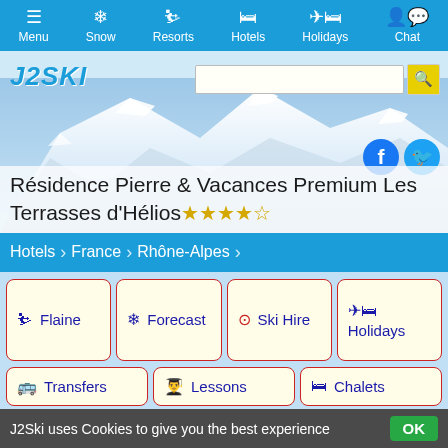Menu | Snow | Resorts | Hotels | Holidays | Chat
[Figure (screenshot): J2Ski website header with logo, search bar, mountain background, Facebook and Twitter icons, and hotel title 'Résidence Pierre & Vacances Premium Les Terrasses d'Hélios' with 5-star rating]
Hotels > France > Rhône-Alpes
Flaine
Forecast
Ski Hire
Holidays
Transfers
Lessons
Chalets
Résidence Pierre & Vacances Premium Les Terrasses d'Hélios  8.8 ☆☆☆☆☆
J2Ski uses Cookies to give you the best experience  OK